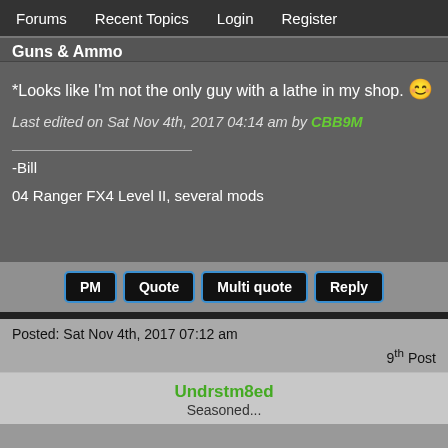Forums   Recent Topics   Login   Register
Guns & Ammo
*Looks like I'm not the only guy with a lathe in my shop. 😊
Last edited on Sat Nov 4th, 2017 04:14 am by CBB9M
-Bill

04 Ranger FX4 Level II, several mods
PM   Quote   Multi quote   Reply
Posted: Sat Nov 4th, 2017 07:12 am
9th Post
Undrstm8ed
Seasoned...